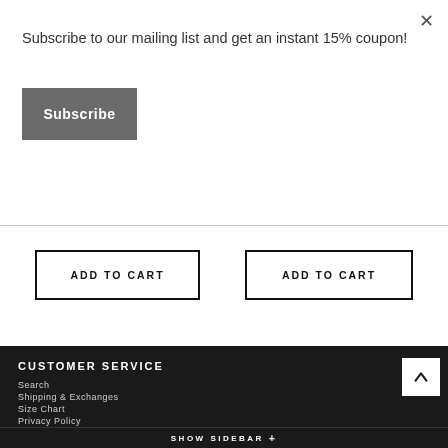×
Subscribe to our mailing list and get an instant 15% coupon!
Subscribe
ADD TO CART
ADD TO CART
CUSTOMER SERVICE
Search
Shipping & Exchanges
Size Chart
Privacy Policy
Contact Us
Terms of Service
Refund policy
SHOW SIDEBAR +